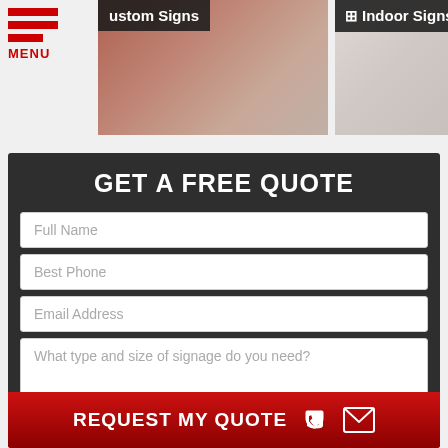MENU
[Figure (screenshot): Navigation tile showing Custom Signs category with dark overlay label]
[Figure (screenshot): Navigation tile showing Indoor Signs category with dark overlay label and building icon]
GET A FREE QUOTE
Full Name
Best Phone
Email Address
What type and size of signage do you need?
REQUEST MY QUOTE